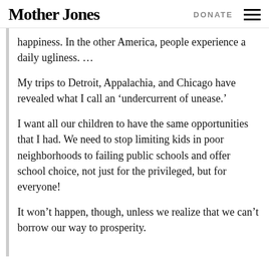Mother Jones | DONATE
happiness. In the other America, people experience a daily ugliness. …
My trips to Detroit, Appalachia, and Chicago have revealed what I call an ‘undercurrent of unease.’
I want all our children to have the same opportunities that I had. We need to stop limiting kids in poor neighborhoods to failing public schools and offer school choice, not just for the privileged, but for everyone!
It won’t happen, though, unless we realize that we can’t borrow our way to prosperity.